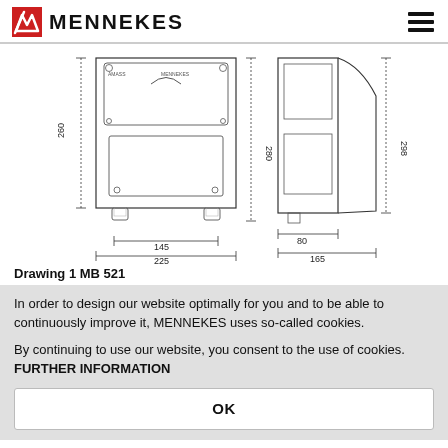MENNEKES
[Figure (engineering-diagram): Technical drawing of MENNEKES MB 521 enclosure showing front and side views with dimensions: height 260mm, 280mm, 298mm; width 145mm, 225mm; depth 80mm, 165mm]
Drawing 1 MB 521
In order to design our website optimally for you and to be able to continuously improve it, MENNEKES uses so-called cookies.
By continuing to use our website, you consent to the use of cookies. FURTHER INFORMATION
OK